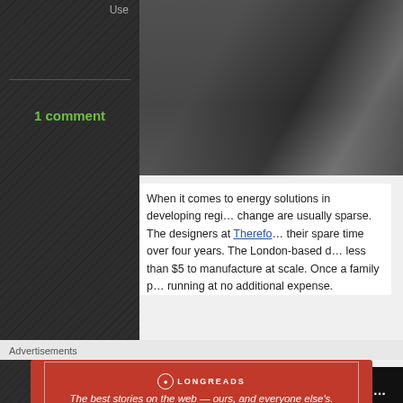Use
1 comment
[Figure (photo): Close-up photo of hands writing on paper, dark background]
When it comes to energy solutions in developing regions, resources to drive change are usually sparse. The designers at Therefore worked on this project in their spare time over four years. The London-based device is expected to cost less than $5 to manufacture at scale. Once a family pays for the light, it keeps running at no additional expense.
[Figure (screenshot): Video embed showing GravityLight: lighting for the developing world, with Therefore tag, Player error message and close button overlay]
Advertisements
[Figure (other): Longreads advertisement banner: The best stories on the web — ours, and everyone else's.]